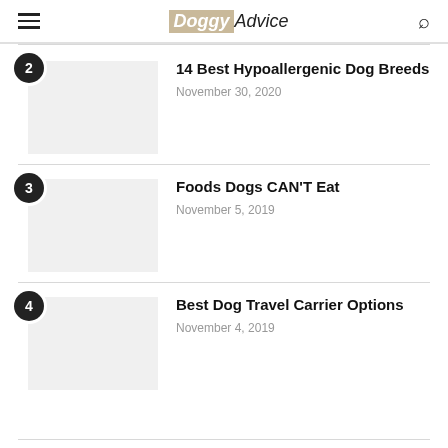DoggyAdvice
2 — 14 Best Hypoallergenic Dog Breeds — November 30, 2020
3 — Foods Dogs CAN'T Eat — November 5, 2019
4 — Best Dog Travel Carrier Options — November 4, 2019